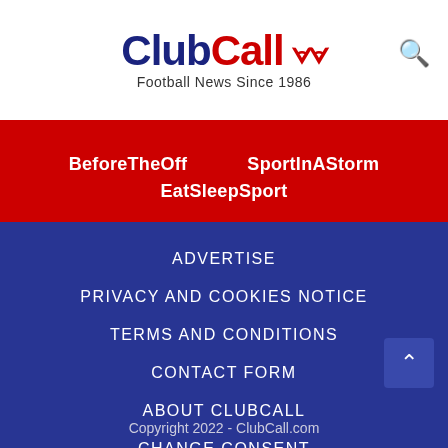ClubCall - Football News Since 1986
BeforeTheOff
SportInAStorm
EatSleepSport
ADVERTISE
PRIVACY AND COOKIES NOTICE
TERMS AND CONDITIONS
CONTACT FORM
ABOUT CLUBCALL
CHANGE CONSENT
Copyright 2022 - ClubCall.com